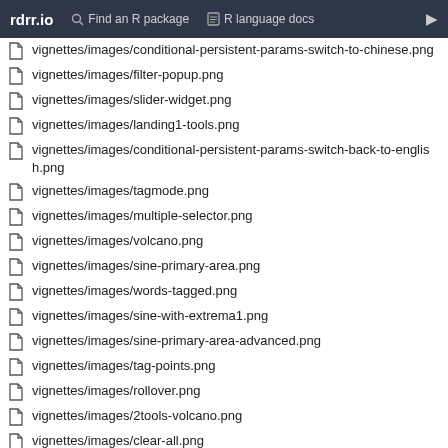rdrr.io  Find an R package  R language docs
vignettes/images/conditional-persistent-params-switch-to-chinese.png
vignettes/images/filter-popup.png
vignettes/images/slider-widget.png
vignettes/images/landing1-tools.png
vignettes/images/conditional-persistent-params-switch-back-to-english.png
vignettes/images/tagmode.png
vignettes/images/multiple-selector.png
vignettes/images/volcano.png
vignettes/images/sine-primary-area.png
vignettes/images/words-tagged.png
vignettes/images/sine-with-extrema1.png
vignettes/images/sine-primary-area-advanced.png
vignettes/images/tag-points.png
vignettes/images/rollover.png
vignettes/images/2tools-volcano.png
vignettes/images/clear-all.png
vignettes/images/horiz-params.png
vignettes/images/poem.png